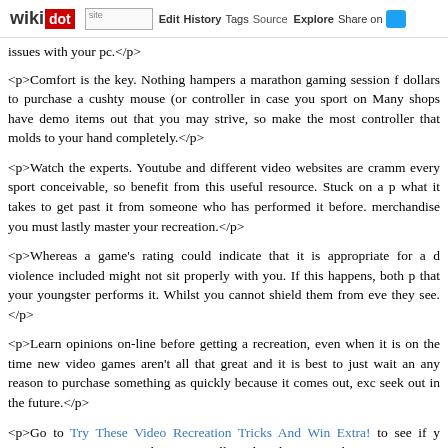wikidot | site | Edit | History | Tags | Source | Explore | Share on
issues with your pc.</p>
<p>Comfort is the key. Nothing hampers a marathon gaming session f... dollars to purchase a cushty mouse (or controller in case you sport on... Many shops have demo items out that you may strive, so make the most... controller that molds to your hand completely.</p>
<p>Watch the experts. Youtube and different video websites are cramm... every sport conceivable, so benefit from this useful resource. Stuck on a p... what it takes to get past it from someone who has performed it before.... merchandise you must lastly master your recreation.</p>
<p>Whereas a game's rating could indicate that it is appropriate for a c... violence included might not sit properly with you. If this happens, both p... that your youngster performs it. Whilst you cannot shield them from eve... they see.</p>
<p>Learn opinions on-line before getting a recreation, even when it is on... the time new video games aren't all that great and it is best to just wait an... any reason to purchase something as quickly because it comes out, exc... seek out in the future.</p>
<p>Go to Try These Video Recreation Tricks And Win Extra! to see if y... sometimes carry games that you're allowed to borrow without cost. Give t... which are available.</p>
<p>Monitor your kid's sport playing. Many video games at the moment a... interact with anyone who's taking part in the sport online. Ask your little... who he is talking to. You can also look into your kid's gaming syste...